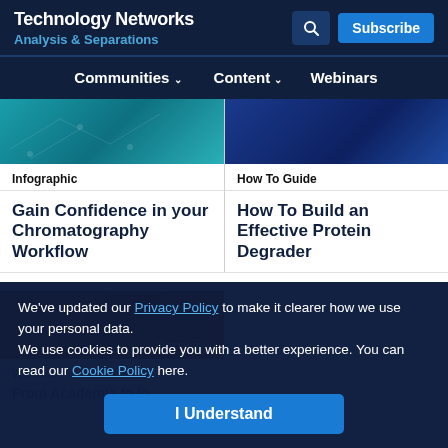Technology Networks | Analysis & Separations
Communities | Content | Webinars
[Figure (screenshot): Teal/blue gradient card image for Chromatography Workflow infographic]
Infographic
Gain Confidence in your Chromatography Workflow
[Figure (screenshot): Dark blue gradient card image for Protein Degrader how-to guide]
How To Guide
How To Build an Effective Protein Degrader
[Figure (photo): Orange/amber microscopy image with STEMCELL Technologies logo overlay]
Webinar
From Academia to In...
We've updated our Privacy Policy to make it clearer how we use your personal data.
We use cookies to provide you with a better experience. You can read our Cookie Policy here.